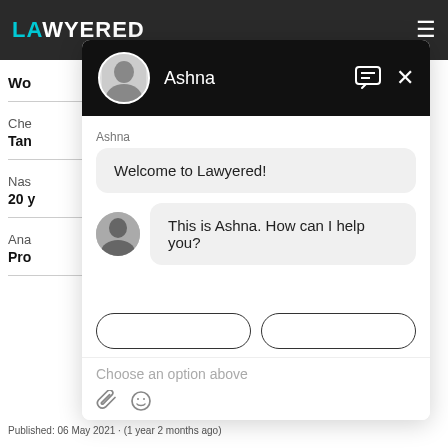LAWYERED
Wo
Che
Tan
Nas
20 y
Ana
Pro
[Figure (screenshot): Chat popup from Lawyered with agent Ashna. Header shows avatar photo, name 'Ashna', message icon and X close button on black background. Chat messages: 'Welcome to Lawyered!' in a grey bubble, then avatar + 'This is Ashna. How can I help you?' in a grey bubble. Below are two rounded button outlines. Footer shows 'Choose an option above' placeholder text and attachment/emoji icons.]
Published: 06 May 2021 · (1 year 2 months ago)